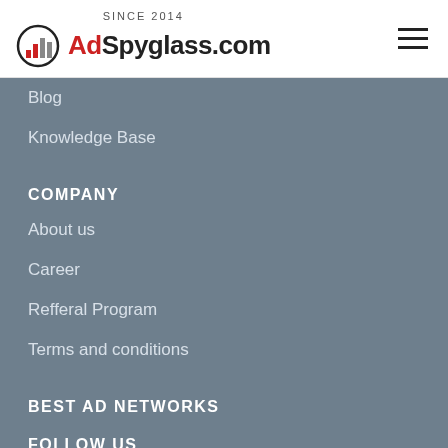SINCE 2014 AdSpyglass.com
Blog
Knowledge Base
COMPANY
About us
Career
Refferal Program
Terms and conditions
BEST AD NETWORKS
FOLLOW US
[Figure (illustration): Social media icons: Twitter/X, YouTube, Facebook]